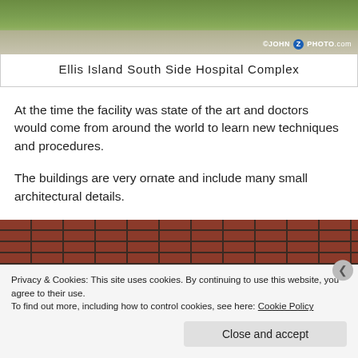[Figure (photo): Aerial or ground-level view of Ellis Island South Side Hospital Complex, showing greenery and stone pathways with a copyright watermark reading ©JOHN Z PHOTO.com]
Ellis Island South Side Hospital Complex
At the time the facility was state of the art and doctors would come from around the world to learn new techniques and procedures.
The buildings are very ornate and include many small architectural details.
[Figure (photo): Close-up photograph of red brick wall of the Ellis Island hospital complex building]
Privacy & Cookies: This site uses cookies. By continuing to use this website, you agree to their use.
To find out more, including how to control cookies, see here: Cookie Policy